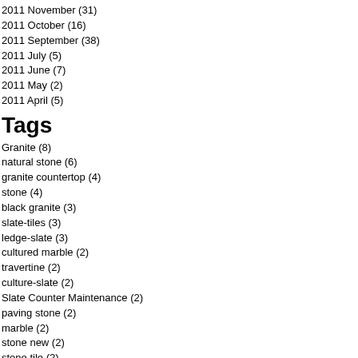2011 November (31)
2011 October (16)
2011 September (38)
2011 July (5)
2011 June (7)
2011 May (2)
2011 April (5)
Tags
Granite (8)
natural stone (6)
granite countertop (4)
stone (4)
black granite (3)
slate-tiles (3)
ledge-slate (3)
cultured marble (2)
travertine (2)
culture-slate (2)
Slate Counter Maintenance (2)
paving stone (2)
marble (2)
stone new (2)
stone tile (2)
design marble (2)
stone supplier (2)
Select-Granite-Slab (2)